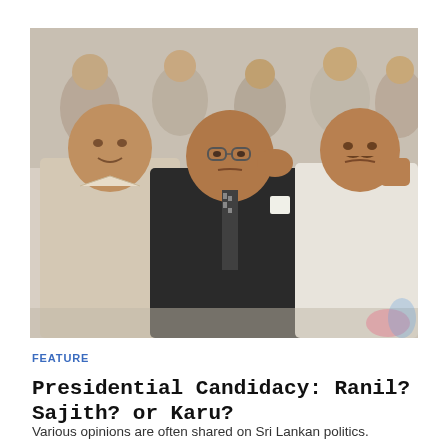[Figure (photo): Three men seated together at an event. The man on the left wears a light beige shirt. The man in the center wears a dark suit with a patterned tie and glasses. The man on the right wears a white shirt. Several other people are visible in the background.]
FEATURE
Presidential Candidacy: Ranil? Sajith? or Karu?
Various opinions are often shared on Sri Lankan politics.